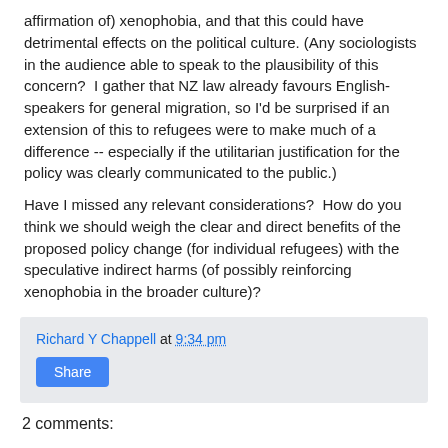affirmation of) xenophobia, and that this could have detrimental effects on the political culture. (Any sociologists in the audience able to speak to the plausibility of this concern?  I gather that NZ law already favours English-speakers for general migration, so I'd be surprised if an extension of this to refugees were to make much of a difference -- especially if the utilitarian justification for the policy was clearly communicated to the public.)
Have I missed any relevant considerations?  How do you think we should weigh the clear and direct benefits of the proposed policy change (for individual refugees) with the speculative indirect harms (of possibly reinforcing xenophobia in the broader culture)?
Richard Y Chappell at 9:34 pm
Share
2 comments: